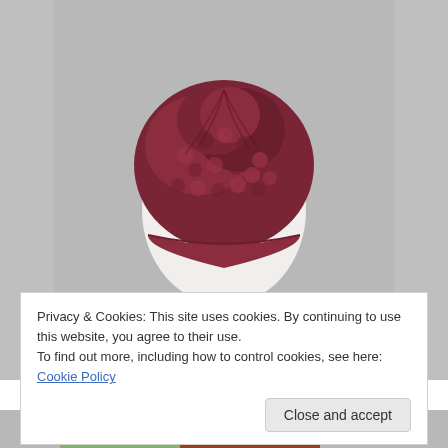[Figure (photo): A dark red/burgundy chunky crocheted beanie hat displayed on a white foam mannequin head, photographed against a light grey stone or concrete background.]
Privacy & Cookies: This site uses cookies. By continuing to use this website, you agree to their use.
To find out more, including how to control cookies, see here: Cookie Policy
[Figure (photo): Bottom strip showing a partial view of another crocheted item in green and rust/brown colors.]